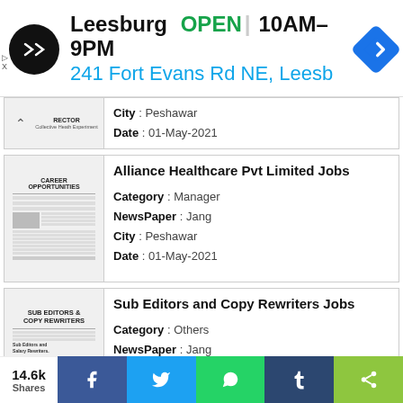[Figure (infographic): Ad banner: Leesburg OPEN 10AM-9PM, 241 Fort Evans Rd NE, Leesb, with logo and navigation icon]
City : Peshawar
Date : 01-May-2021
Alliance Healthcare Pvt Limited Jobs
Category : Manager
NewsPaper : Jang
City : Peshawar
Date : 01-May-2021
Sub Editors and Copy Rewriters Jobs
Category : Others
NewsPaper : Jang
City : Karachi